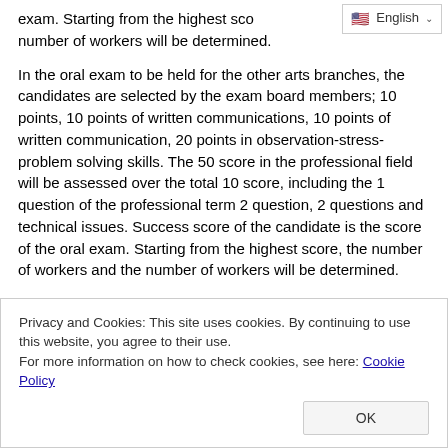exam. Starting from the highest score, the number of workers and the number of workers will be determined.
In the oral exam to be held for the other arts branches, the candidates are selected by the exam board members; 10 points, 10 points of written communications, 10 points of written communication, 20 points in observation-stress-problem solving skills. The 50 score in the professional field will be assessed over the total 10 score, including the 1 question of the professional term 2 question, 2 questions and technical issues. Success score of the candidate is the score of the oral exam. Starting from the highest score, the number of workers and the number of workers will be determined.
Privacy and Cookies: This site uses cookies. By continuing to use this website, you agree to their use. For more information on how to check cookies, see here: Cookie Policy